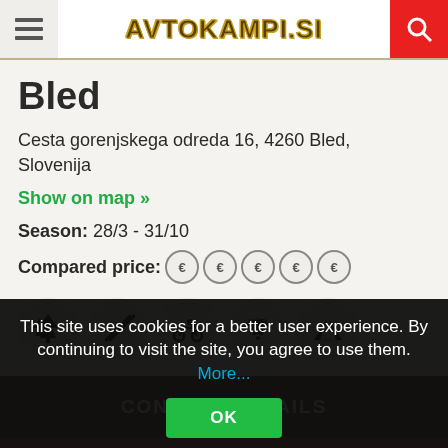AVTOKAMPI.SI
Bled
Cesta gorenjskega odreda 16, 4260 Bled, Slovenija
Show on map »
Season: 28/3 - 31/10
Compared price: € € € € €
[Figure (infographic): Five circular icons showing: trees (nature), winding road, motorbike, WiFi, and tent/shelter amenities]
CONTACT DETAILS
OFFICIAL WEBSITE
This site uses cookies for a better user experience. By continuing to visit the site, you agree to use them. More...
OK